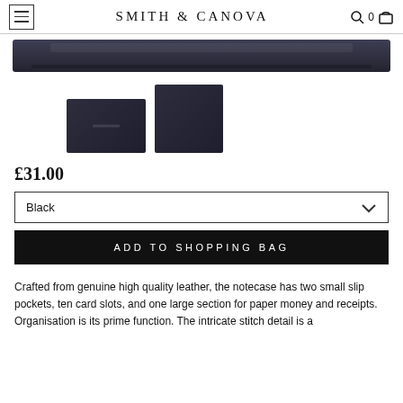Smith & Canova
[Figure (photo): Dark navy/black leather wallet product images: a horizontal strip showing the wallet open from top, and two thumbnail images showing the wallet folded and the back panel.]
£31.00
Black
ADD TO SHOPPING BAG
Crafted from genuine high quality leather, the notecase has two small slip pockets, ten card slots, and one large section for paper money and receipts. Organisation is its prime function. The intricate stitch detail is a